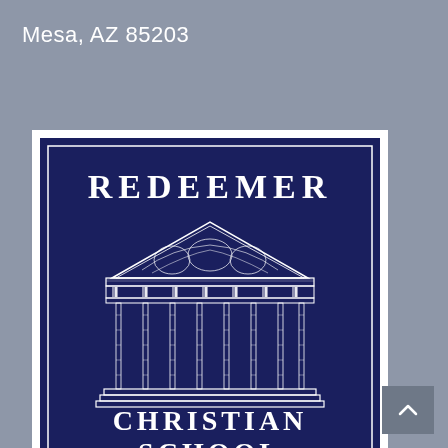Mesa, AZ  85203
[Figure (logo): Redeemer Christian School logo: dark navy blue square with white border, featuring the text REDEEMER at top, a classical Greek temple/Parthenon illustration in the middle, and CHRISTIAN / —SCHOOL— at the bottom, all in white on navy blue background.]
[Figure (other): Back to top button: small gray square with upward-pointing white chevron arrow in bottom right corner of page.]